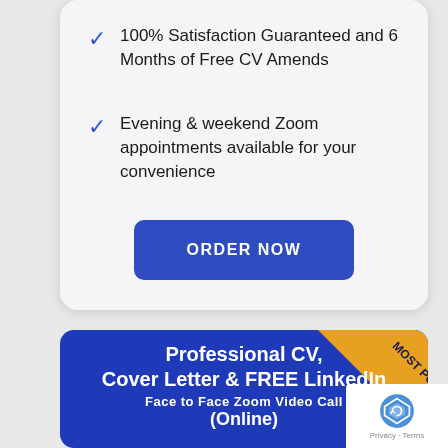100% Satisfaction Guaranteed and 6 Months of Free CV Amends
Evening & weekend Zoom appointments available for your convenience
ORDER NOW
[Figure (infographic): Blue card with 'Most Popular' ribbon in top-right corner and text: Professional CV, Cover Letter & FREE LinkedIn, Face to Face Zoom Video Call, (Online)]